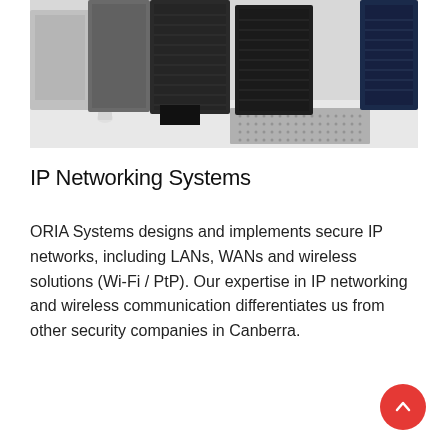[Figure (photo): Photo of server rack cabinets in a data center, showing black and metallic rack enclosures on a white tile floor with cable management]
IP Networking Systems
ORIA Systems designs and implements secure IP networks, including LANs, WANs and wireless solutions (Wi-Fi / PtP). Our expertise in IP networking and wireless communication differentiates us from other security companies in Canberra.